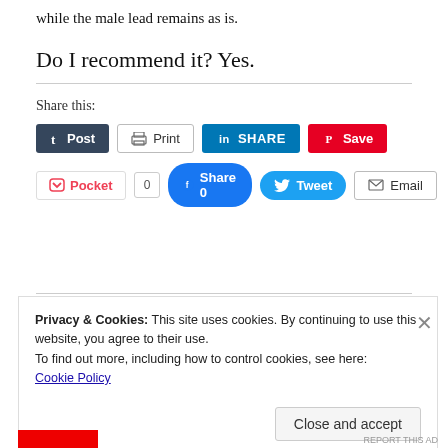while the male lead remains as is.
Do I recommend it? Yes.
Share this:
[Figure (other): Social share buttons: Post (Tumblr), Print, Share (LinkedIn), Save (Pinterest), Pocket with count 0, Share 0 (Facebook), Tweet (Twitter), Email]
Privacy & Cookies: This site uses cookies. By continuing to use this website, you agree to their use.
To find out more, including how to control cookies, see here:
Cookie Policy
Close and accept